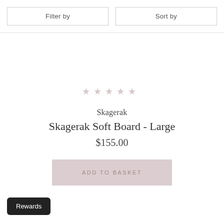Filter by
Sort by
[Figure (other): Five empty star rating icons in light pink/grey color]
Skagerak
Skagerak Soft Board - Large
$155.00
ADD TO BASKET
Rewards